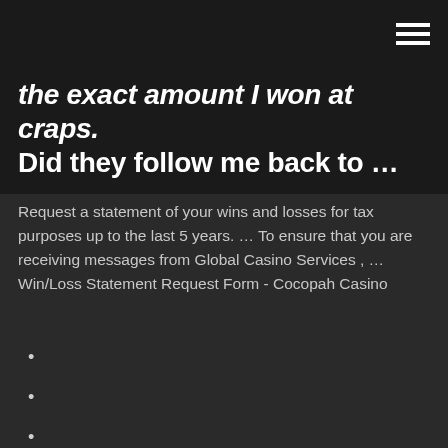[navigation bar with hamburger menu]
the exact amount I won at craps. Did they follow me back to …
Request a statement of your wins and losses for tax purposes up to the last 5 years. … To ensure that you are receiving messages from Global Casino Services , … Win/Loss Statement Request Form - Cocopah Casino
Rv parks near casino arizona
Play texas holdem online for free without downloading